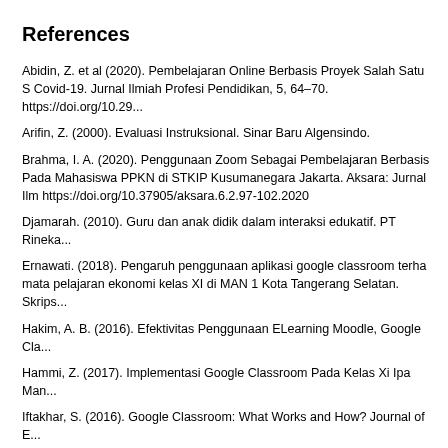References
Abidin, Z. et al (2020). Pembelajaran Online Berbasis Proyek Salah Satu S Covid-19. Jurnal Ilmiah Profesi Pendidikan, 5, 64–70. https://doi.org/10.29...
Arifin, Z. (2000). Evaluasi Instruksional. Sinar Baru Algensindo.
Brahma, I. A. (2020). Penggunaan Zoom Sebagai Pembelajaran Berbasis Pada Mahasiswa PPKN di STKIP Kusumanegara Jakarta. Aksara: Jurnal Ilm https://doi.org/10.37905/aksara.6.2.97-102.2020
Djamarah. (2010). Guru dan anak didik dalam interaksi edukatif. PT Rineka...
Ernawati. (2018). Pengaruh penggunaan aplikasi google classroom terha mata pelajaran ekonomi kelas XI di MAN 1 Kota Tangerang Selatan. Skrips...
Hakim, A. B. (2016). Efektivitas Penggunaan ELearning Moodle, Google Cla...
Hammi, Z. (2017). Implementasi Google Classroom Pada Kelas Xi Ipa Man...
Iftakhar, S. (2016). Google Classroom: What Works and How? Journal of E...
Imaduddin, Muhammad. (2018). Membuat Kelas Online Berbasis Android...
Layla, M. (2020). ogyakarta: Garudhawaca." Layla, M. (2020). Analisis pengg pandemic covid-19 menggunakan webqual 4.0. TANJAK: Journal of Educat https://doi.org/10.35961/tanjak.v1i2.142...